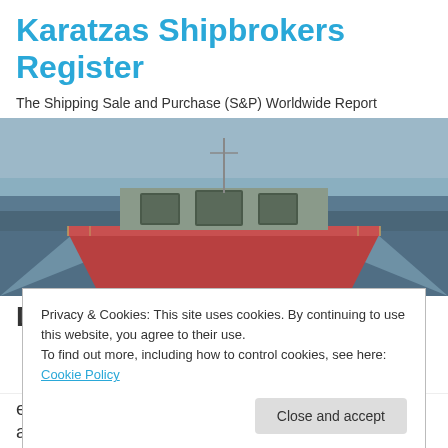Karatzas Shipbrokers Register
The Shipping Sale and Purchase (S&P) Worldwide Report
[Figure (photo): Aerial view from the bow of a large bulk carrier ship sailing on open blue ocean, with cargo hatches visible along the deck and wake visible behind.]
Dry Bulk Sale & Purchase
Privacy & Cookies: This site uses cookies. By continuing to use this website, you agree to their use.
To find out more, including how to control cookies, see here: Cookie Policy
ever. Since then, the market has been bouncing along the